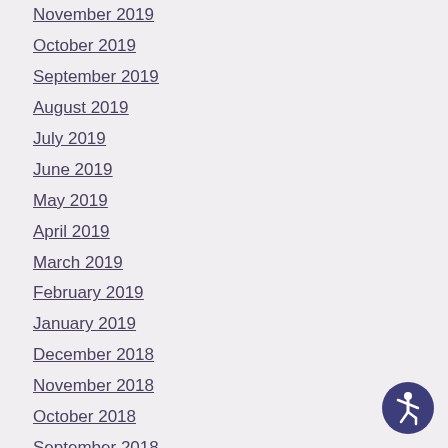November 2019
October 2019
September 2019
August 2019
July 2019
June 2019
May 2019
April 2019
March 2019
February 2019
January 2019
December 2018
November 2018
October 2018
September 2018
August 2018
July 2018
June 2018
May 2018
[Figure (illustration): Accessibility icon: blue circle with white human figure in wheelchair-accessible symbol pose]